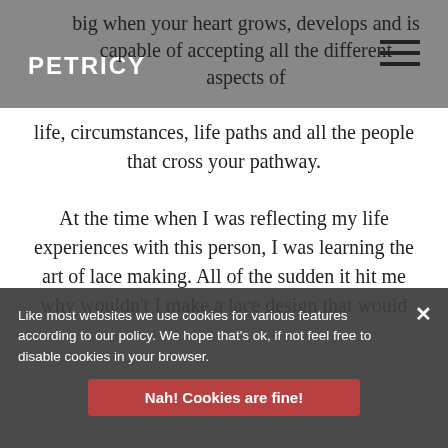PETRICY
big when your heart grows, develops and is capable of accepting all the different aspects of life, circumstances, life paths and all the people that cross your pathway.
At the time when I was reflecting my life experiences with this person, I was learning the art of lace making. All of the sudden it hit me why wouldn't I make a lace design that would ... heart? ... long and at times painful ... s, good heart
Like most websites we use cookies for various features according to our policy. We hope that's ok, if not feel free to disable cookies in your browser.
Nah! Cookies are fine!